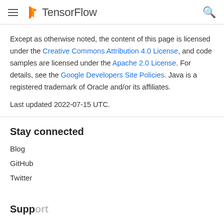TensorFlow
Except as otherwise noted, the content of this page is licensed under the Creative Commons Attribution 4.0 License, and code samples are licensed under the Apache 2.0 License. For details, see the Google Developers Site Policies. Java is a registered trademark of Oracle and/or its affiliates.
Last updated 2022-07-15 UTC.
Stay connected
Blog
GitHub
Twitter
Support